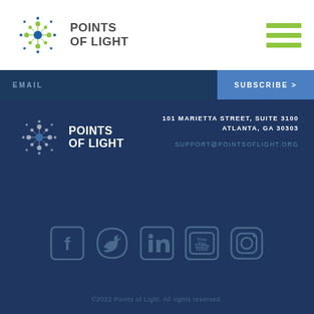[Figure (logo): Points of Light logo with star/dot icon and text POINTS OF LIGHT]
[Figure (logo): Hamburger menu icon with three green horizontal bars]
EMAIL
SUBSCRIBE >
[Figure (logo): Points of Light footer logo white version]
101 MARIETTA STREET, SUITE 3100
ATLANTA, GA 30303
SUPPORT@POINTSOFLIGHT.ORG
[Figure (infographic): Social media icons: Facebook, Twitter, LinkedIn, YouTube, Instagram]
©2022 Points of Light. All rights reserved.